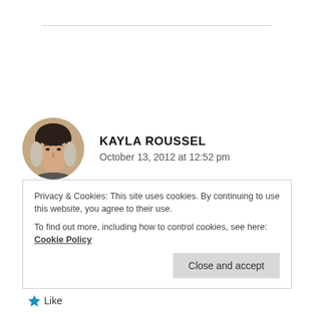KAYLA ROUSSEL
October 13, 2012 at 12:52 pm
I loved this article and how honest you were. It’s hard to admit sometimes that it really is us (the parent) who is the o e being bothered not anyone
Privacy & Cookies: This site uses cookies. By continuing to use this website, you agree to their use.
To find out more, including how to control cookies, see here: Cookie Policy
Close and accept
Like